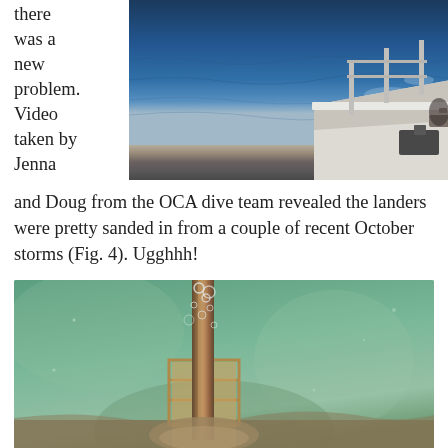there was a new problem. Video taken by Jenna and Doug from the OCA dive team revealed the landers were pretty sanded in from a couple of recent October storms (Fig. 4). Ugghhh!
[Figure (photo): View from a boat deck looking out over dark blue ocean water, with part of the white boat railing/equipment visible in the lower right corner.]
[Figure (photo): Underwater photograph showing a scientific lander structure partially buried in sandy sediment, with murky green-tinted water and bubbles visible.]